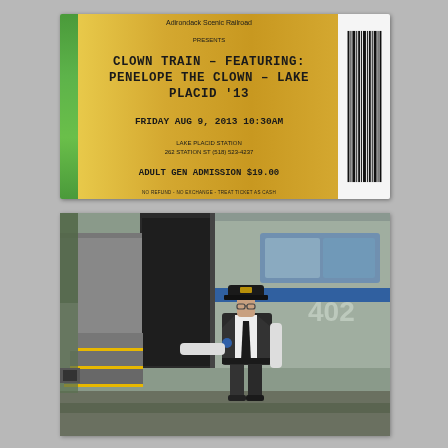[Figure (photo): A train ticket from Adirondack Scenic Railroad for 'Clown Train - Featuring: Penelope the Clown - Lake Placid 13', Friday Aug 9, 2013 10:30AM, Lake Placid Station, 262 Station St (518) 523-4237, Adult Gen Admission $19.00. The ticket has a green left strip, a yellow-gold main body, and a barcode on the right. A serial number runs vertically on the left edge.]
[Figure (photo): A photograph of a train conductor (woman in uniform with black vest, white shirt, black cap, and badge) standing beside a passenger rail car numbered 402 with a blue stripe. Yellow-edged steps are visible at the left. The scene is at a station platform with gravel ground.]